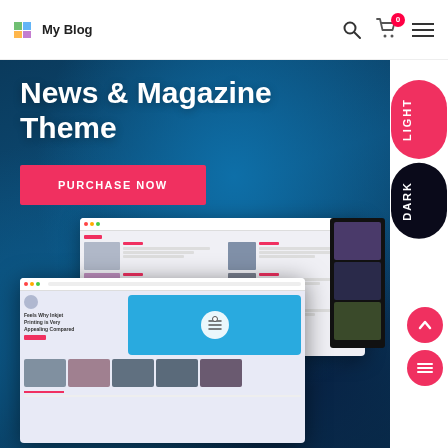My Blog
News & Magazine Theme
PURCHASE NOW
[Figure (screenshot): Website theme preview screenshots showing a news/magazine theme layout with article cards, images, and navigation elements. Two overlapping browser window screenshots are shown against a dark blue abstract background.]